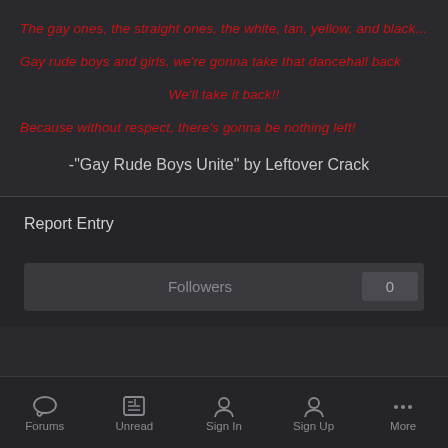The gay ones, the straight ones, the white, tan, yellow, and black...
Gay rude boys and girls, we're gonna take that dancehall back
We'll take it back!!
Because without respect, there's gonna be nothing left!
-"Gay Rude Boys Unite" by Leftover Crack
Report Entry
Followers
0
Forums  Unread  Sign In  Sign Up  More